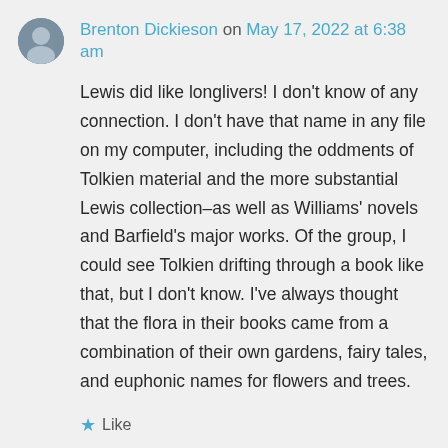Brenton Dickieson on May 17, 2022 at 6:38 am
Lewis did like longlivers! I don't know of any connection. I don't have that name in any file on my computer, including the oddments of Tolkien material and the more substantial Lewis collection–as well as Williams' novels and Barfield's major works. Of the group, I could see Tolkien drifting through a book like that, but I don't know. I've always thought that the flora in their books came from a combination of their own gardens, fairy tales, and euphonic names for flowers and trees.
Like